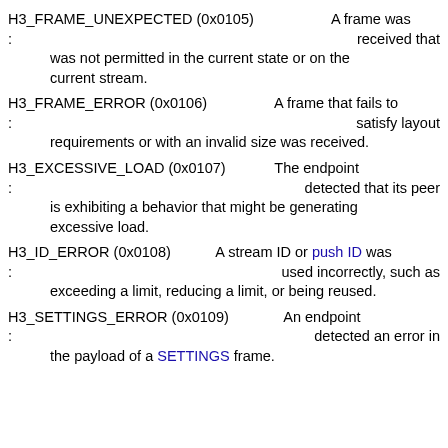H3_FRAME_UNEXPECTED (0x0105): A frame was received that was not permitted in the current state or on the current stream.
H3_FRAME_ERROR (0x0106): A frame that fails to satisfy layout requirements or with an invalid size was received.
H3_EXCESSIVE_LOAD (0x0107): The endpoint detected that its peer is exhibiting a behavior that might be generating excessive load.
H3_ID_ERROR (0x0108): A stream ID or push ID was used incorrectly, such as exceeding a limit, reducing a limit, or being reused.
H3_SETTINGS_ERROR (0x0109): An endpoint detected an error in the payload of a SETTINGS frame.